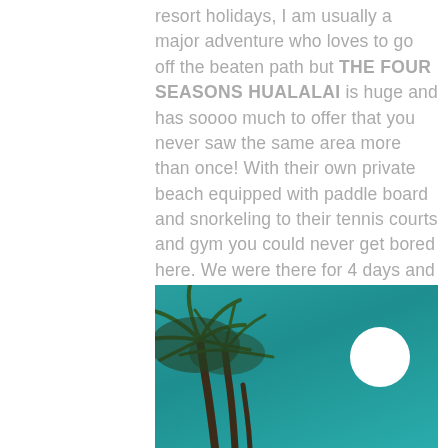resort holidays, I am usually a major adventure who loves to go off the beaten path but THE FOUR SEASONS HUALALAI is huge and has soooo much to offer that you never saw the same area more than once! With their own private beach equipped with paddle board and snorkeling to their tennis courts and gym you could never get bored here. We were there for 4 days and I still feel I didn't do everything. This is 100% on my top 10 hotels I have ever stayed in.
[Figure (photo): Photo of palm trees against a teal/turquoise sky with a bright white full moon visible in the upper right area of the image.]